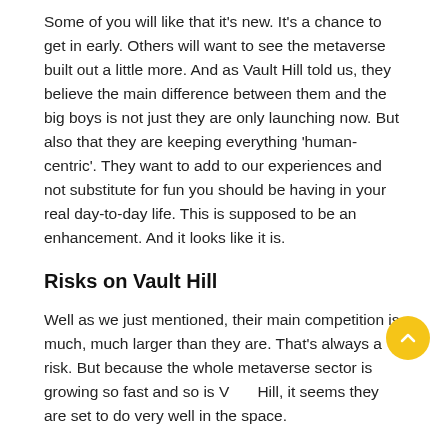Some of you will like that it's new. It's a chance to get in early. Others will want to see the metaverse built out a little more. And as Vault Hill told us, they believe the main difference between them and the big boys is not just they are only launching now. But also that they are keeping everything 'human-centric'. They want to add to our experiences and not substitute for fun you should be having in your real day-to-day life. This is supposed to be an enhancement. And it looks like it is.
Risks on Vault Hill
Well as we just mentioned, their main competition is much, much larger than they are. That's always a risk. But because the whole metaverse sector is growing so fast and so is Vault Hill, it seems they are set to do very well in the space.
All eyes are on their VLAND sale. If that sells fast enough they